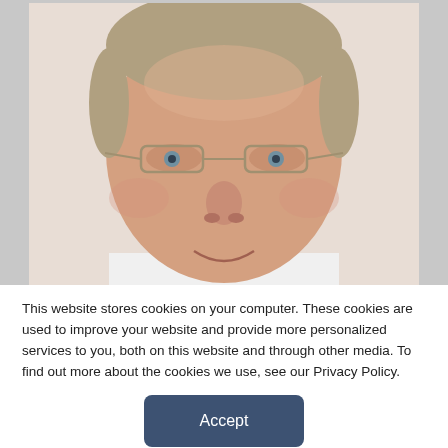[Figure (photo): Close-up headshot photo of a middle-aged man with short blonde/grey hair wearing wire-rimmed glasses, cropped to show face from forehead to chin, on a white/light background.]
This website stores cookies on your computer. These cookies are used to improve your website and provide more personalized services to you, both on this website and through other media. To find out more about the cookies we use, see our Privacy Policy.